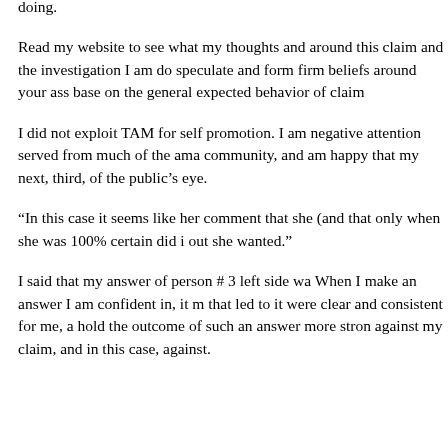doing.
Read my website to see what my thoughts and around this claim and the investigation I am do speculate and form firm beliefs around your ass base on the general expected behavior of claim
I did not exploit TAM for self promotion. I am negative attention served from much of the ama community, and am happy that my next, third, of the public's eye.
“In this case it seems like her comment that she (and that only when she was 100% certain did i out she wanted.”
I said that my answer of person # 3 left side wa When I make an answer I am confident in, it m that led to it were clear and consistent for me, a hold the outcome of such an answer more stron against my claim, and in this case, against.